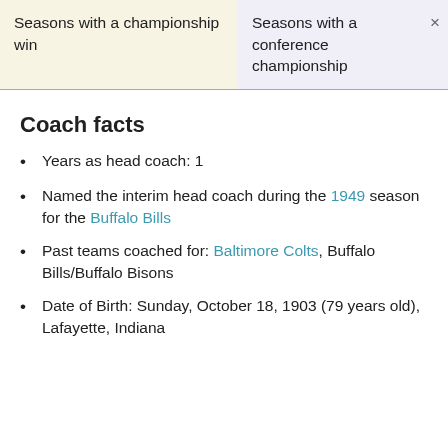| Seasons with a championship win | Seasons with a conference championship |
| --- | --- |
Coach facts
Years as head coach: 1
Named the interim head coach during the 1949 season for the Buffalo Bills
Past teams coached for: Baltimore Colts, Buffalo Bills/Buffalo Bisons
Date of Birth: Sunday, October 18, 1903 (79 years old), Lafayette, Indiana